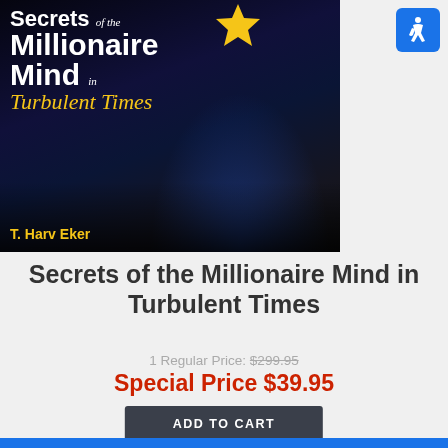[Figure (photo): Book cover for 'Secrets of the Millionaire Mind in Turbulent Times' by T. Harv Eker, showing a speaker on stage with audience members raising hands, dark background with blue lighting]
[Figure (illustration): Blue accessibility icon (wheelchair symbol) in a rounded blue square, top right corner]
Secrets of the Millionaire Mind in Turbulent Times
1 Regular Price: $299.95
Special Price $39.95
ADD TO CART